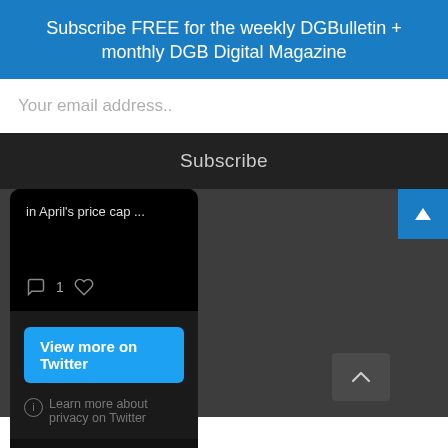Subscribe FREE for the weekly DGBulletin + monthly DGB Digital Magazine
Your email address..
Subscribe
in April's price cap ...
View more on Twitter
Learn more about privacy on Twitter